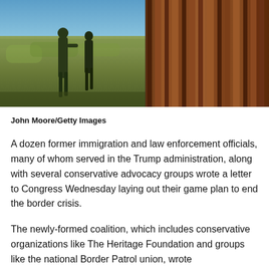[Figure (photo): Two border patrol officers in dark green uniforms standing near a tall metal border fence/wall. Left side shows officers in a field with blue sky and vegetation; right side shows close-up of rusted metal fence poles.]
John Moore/Getty Images
A dozen former immigration and law enforcement officials, many of whom served in the Trump administration, along with several conservative advocacy groups wrote a letter to Congress Wednesday laying out their game plan to end the border crisis.
The newly-formed coalition, which includes conservative organizations like The Heritage Foundation and groups like the national Border Patrol union, wrote